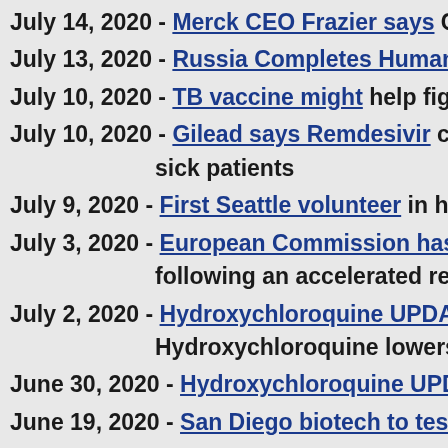July 14, 2020 - Merck CEO Frazier says COVID...
July 13, 2020 - Russia Completes Human Tria...
July 10, 2020 - TB vaccine might help fight co...
July 10, 2020 - Gilead says Remdesivir corona... sick patients
July 9, 2020 - First Seattle volunteer in huma...
July 3, 2020 - European Commission has give... following an accelerated re...
July 2, 2020 - Hydroxychloroquine UPDATE - Hydroxychloroquine lowers...
June 30, 2020 - Hydroxychloroquine UPDATE...
June 19, 2020 - San Diego biotech to test if m...
June 18, 2020 - Blood types may play role in v...
June 17, 2020 - San Diego Researchers Develo...